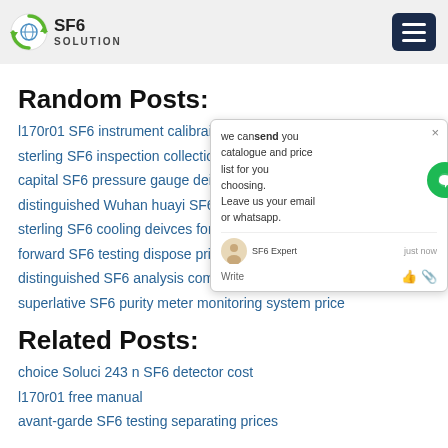SF6 SOLUTION
Random Posts:
l170r01 SF6 instrument calibraion for sale
sterling SF6 inspection collection for sale
capital SF6 pressure gauge deivces for
distinguished Wuhan huayi SF6 solution
sterling SF6 cooling deivces for sale
forward SF6 testing dispose prices
distinguished SF6 analysis company pri
superlative SF6 purity meter monitoring system price
Related Posts:
choice Soluci 243 n SF6 detector cost
l170r01 free manual
avant-garde SF6 testing separating prices
[Figure (other): Chat popup widget with message: we can send you catalogue and price list for you choosing. Leave us your email or whatsapp. SF6 Expert just now. Write input row with icons.]